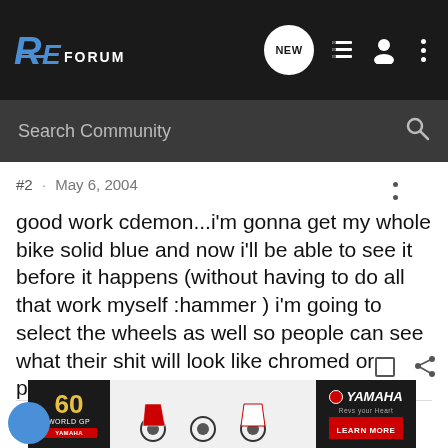[Figure (screenshot): RE Forum navigation bar with logo, NEW chat bubble icon, list icon, user icon, and three-dot menu]
[Figure (screenshot): Dark search bar with 'Search Community' placeholder text and magnifying glass icon]
#2 · May 6, 2004
good work cdemon...i'm gonna get my whole bike solid blue and now i'll be able to see it before it happens (without having to do all that work myself :hammer ) i'm going to select the wheels as well so people can see what their shit will look like chromed or powdercoated or whatever. good work you deserve :cheers
whats really good?
[Figure (photo): Yamaha 60th Anniversary World GP advertisement banner with motorcycles]